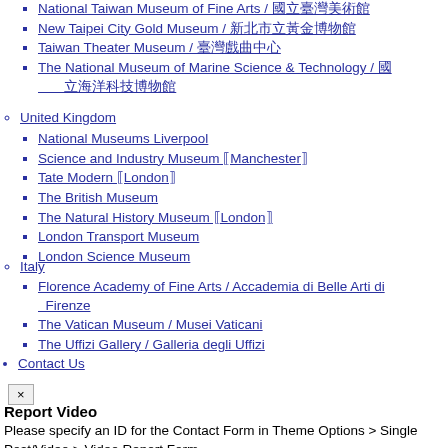National Taiwan Museum of Fine Arts / 國立臺灣美術館
New Taipei City Gold Museum / 新北市立黃金博物館
Taiwan Theater Museum / 臺灣戲曲中心
The National Museum of Marine Science & Technology / 國立海洋科技博物館
United Kingdom
National Museums Liverpool
Science and Industry Museum (Manchester)
Tate Modern (London)
The British Museum
The Natural History Museum (London)
London Transport Museum
London Science Museum
Italy
Florence Academy of Fine Arts / Accademia di Belle Arti di Firenze
The Vatican Museum / Musei Vaticani
The Uffizi Gallery / Galleria degli Uffizi
Contact Us
[Figure (other): Close button (×)]
Report Video
Please specify an ID for the Contact Form in Theme Options > Single Post/Video > Video Report Form
%d bloggers like this: